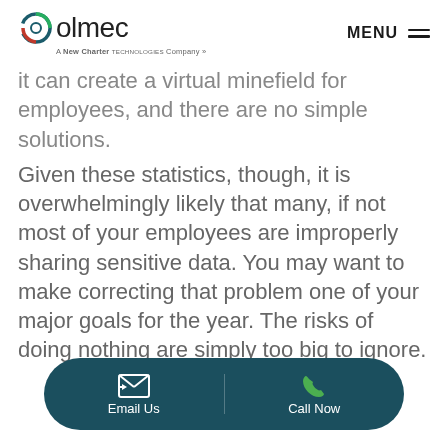olmec – A New Charter Technologies Company | MENU
it can create a virtual minefield for employees, and there are no simple solutions.
Given these statistics, though, it is overwhelmingly likely that many, if not most of your employees are improperly sharing sensitive data. You may want to make correcting that problem one of your major goals for the year. The risks of doing nothing are simply too big to ignore.
Email Us | Call Now